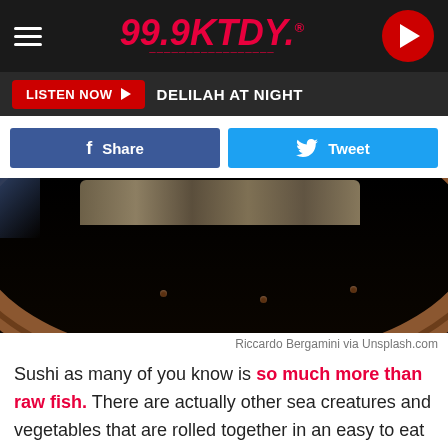99.9KTDY
LISTEN NOW  DELILAH AT NIGHT
Share  Tweet
[Figure (photo): Close-up of a wooden sushi boat/plate with sushi rolls, dark background]
Riccardo Bergamini via Unsplash.com
Sushi as many of you know is so much more than raw fish. There are actually other sea creatures and vegetables that are rolled together in an easy to eat package that is not only delicious but quite healthy and good for most people.